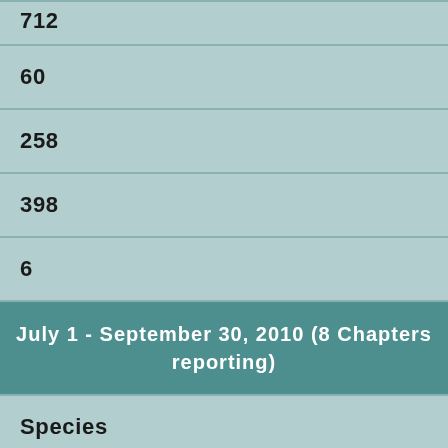| (partial) |
| 60 |
| 258 |
| 398 |
| 6 |
| July 1 - September 30, 2010 (8 Chapters reporting) |
| Species |
| Incoming |